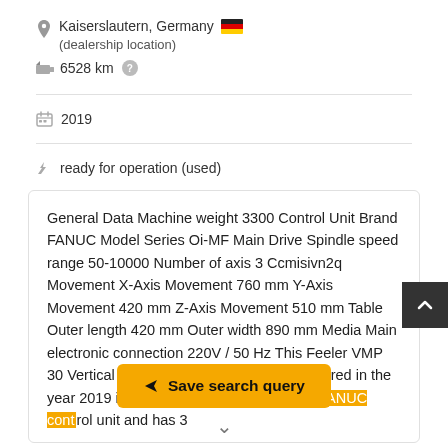Kaiserslautern, Germany (dealership location)
6528 km
2019
ready for operation (used)
General Data Machine weight 3300 Control Unit Brand FANUC Model Series Oi-MF Main Drive Spindle speed range 50-10000 Number of axis 3 Ccmisivn2q Movement X-Axis Movement 760 mm Y-Axis Movement 420 mm Z-Axis Movement 510 mm Table Outer length 420 mm Outer width 890 mm Media Main electronic connection 220V / 50 Hz This Feeler VMP 30 Vertical Machining center was manufactured in the year 2019 in Taiwan. It is equipped with a FANUC control unit and has 3 axes.